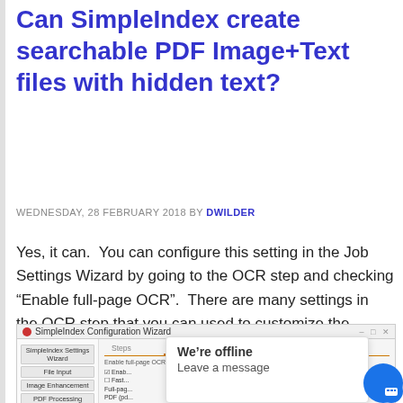Can SimpleIndex create searchable PDF Image+Text files with hidden text?
WEDNESDAY, 28 FEBRUARY 2018 BY DWILDER
Yes, it can.  You can configure this setting in the Job Settings Wizard by going to the OCR step and checking “Enable full-page OCR”.  There are many settings in the OCR step that you can used to customize the output and recognition of images.
[Figure (screenshot): SimpleIndex Configuration Wizard screenshot showing the OCR step with Steps panel on left (SimpleIndex Settings Wizard, File Input, Image Enhancement, PDF Processing, File Output, Database) and OCR tab on right with 'Enable full-page OCR and configure options for Zone OCR.' description and checkbox options. A chat popup overlay reads 'We’re offline / Leave a message' with a blue chat button.]